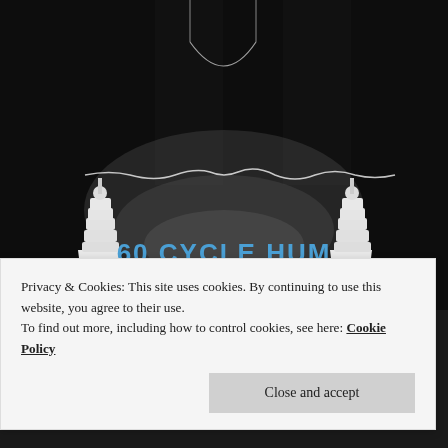[Figure (photo): Black and white photograph showing two white electrical insulators/towers with a wire strung between them and a glowing discharge effect in the center. Text overlay reads '60 CYCLE HUM' in blue bold letters across the middle of the image.]
Right after this was 97's 60 Cycle hum. Again a really strong track starts the whole album off on the right
Privacy & Cookies: This site uses cookies. By continuing to use this website, you agree to their use.
To find out more, including how to control cookies, see here: Cookie Policy
Close and accept